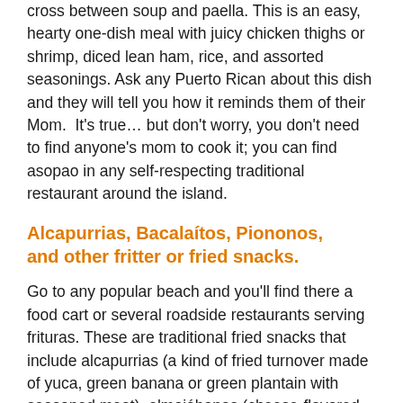cross between soup and paella. This is an easy, hearty one-dish meal with juicy chicken thighs or shrimp, diced lean ham, rice, and assorted seasonings. Ask any Puerto Rican about this dish and they will tell you how it reminds them of their Mom.  It's true… but don't worry, you don't need to find anyone's mom to cook it; you can find asopao in any self-respecting traditional restaurant around the island.
Alcapurrias, Bacalaítos, Piononos, and other fritter or fried snacks.
Go to any popular beach and you'll find there a food cart or several roadside restaurants serving frituras. These are traditional fried snacks that include alcapurrias (a kind of fried turnover made of yuca, green banana or green plantain with seasoned meat), almojábanas (cheese-flavored rice fritters), bacalaítos (codfish-flavored fritters), and buñuelos (yam fritters), among many others.
They might be greasy, but they are just as delicious, so